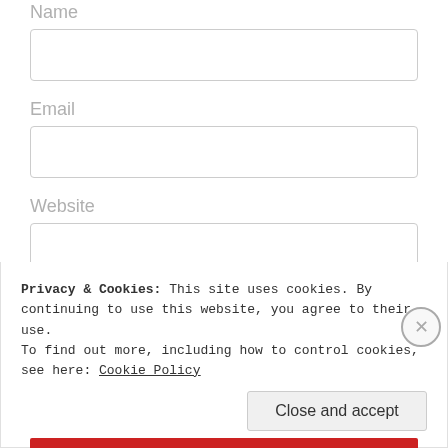Name
Email
Website
Post Comment
Privacy & Cookies: This site uses cookies. By continuing to use this website, you agree to their use. To find out more, including how to control cookies, see here: Cookie Policy
Close and accept